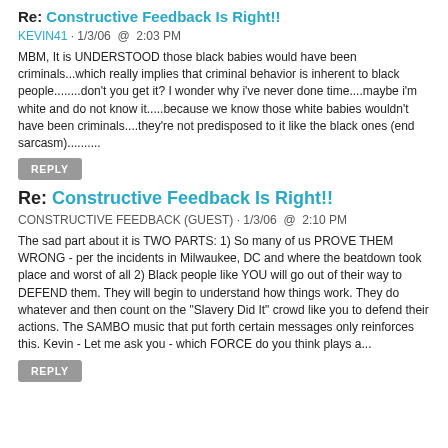Re: Constructive Feedback Is Right!!
KEVIN41 · 1/3/06 @ 2:03 PM
MBM, It is UNDERSTOOD those black babies would have been criminals...which really implies that criminal behavior is inherent to black people........don't you get it? I wonder why i've never done time....maybe i'm white and do not know it.....because we know those white babies wouldn't have been criminals....they're not predisposed to it like the black ones (end sarcasm)..........
REPLY
Re: Constructive Feedback Is Right!!
CONSTRUCTIVE FEEDBACK (GUEST) · 1/3/06 @ 2:10 PM
The sad part about it is TWO PARTS: 1) So many of us PROVE THEM WRONG - per the incidents in Milwaukee, DC and where the beatdown took place and worst of all 2) Black people like YOU will go out of their way to DEFEND them. They will begin to understand how things work. They do whatever and then count on the "Slavery Did It" crowd like you to defend their actions. The SAMBO music that put forth certain messages only reinforces this. Kevin - Let me ask you - which FORCE do you think plays a...
REPLY